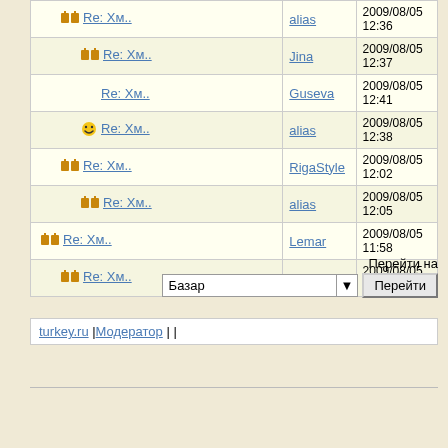| Topic | Author | Date |
| --- | --- | --- |
| 📖 Re: Хм.. | alias | 2009/08/05 12:36 |
| 📖 Re: Хм.. | Jina | 2009/08/05 12:37 |
| Re: Хм.. | Guseva | 2009/08/05 12:41 |
| 🙂 Re: Хм.. | alias | 2009/08/05 12:38 |
| 📖 Re: Хм.. | RigaStyle | 2009/08/05 12:02 |
| 📖 Re: Хм.. | alias | 2009/08/05 12:05 |
| 📖 Re: Хм.. | Lemar | 2009/08/05 11:58 |
| 📖 Re: Хм.. | RigaStyle | 2009/08/05 12:00 |
Перейти на
Базар
Перейти
turkey.ru |Модератор | |